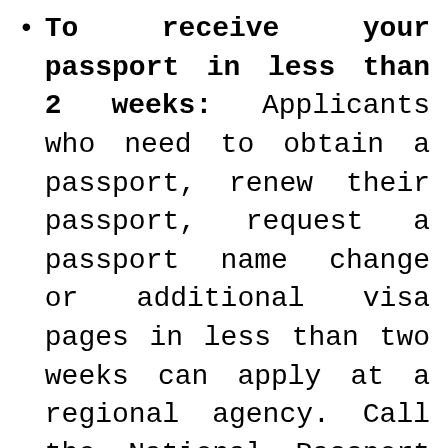To receive your passport in less than 2 weeks: Applicants who need to obtain a passport, renew their passport, request a passport name change or additional visa pages in less than two weeks can apply at a regional agency. Call the National Passport Information Center's automated appointment system to schedule at visit. If you are unable to visit a regional agency, you could hire a